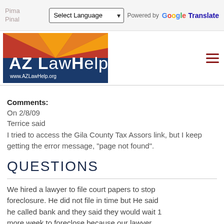Pima
Pinal | Select Language | Powered by Google Translate
[Figure (logo): AZ Law Help logo with Arizona flag background, www.AZLawHelp.org]
Comments:
On 2/8/09
Terrice said
I tried to access the Gila County Tax Assors link, but I keep getting the error message, "page not found".
QUESTIONS
We hired a lawyer to file court papers to stop foreclosure. He did not file in time but He said he called bank and they said they would wait 1 more week to foreclose because our lawyer needed more time. The bank did not wait and foreclosed